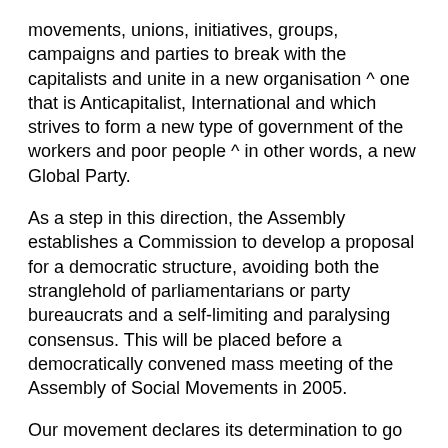movements, unions, initiatives, groups, campaigns and parties to break with the capitalists and unite in a new organisation ^ one that is Anticapitalist, International and which strives to form a new type of government of the workers and poor people ^ in other words, a new Global Party.
As a step in this direction, the Assembly establishes a Commission to develop a proposal for a democratic structure, avoiding both the stranglehold of parliamentarians or party bureaucrats and a self-limiting and paralysing consensus. This will be placed before a democratically convened mass meeting of the Assembly of Social Movements in 2005.
Our movement declares its determination to go beyond being ‘a space’,. This Assembly, which issued the call for the biggest mass mobilisation against war in human history on February 15 2003, can be and must be more than a talking shop, more than a space, more than the sum of its parts. As a movement we can win millions to a bold programme of action which will transform Europe and the world. We need the organisation, the social forums, the international assembly to adopt a plan of action now:
One which declares war on the imperialist “wars on terror”